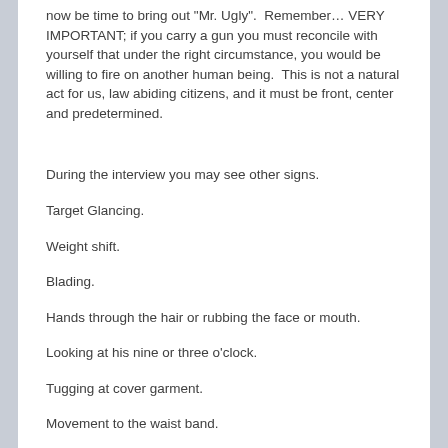now be time to bring out "Mr. Ugly".  Remember… VERY IMPORTANT; if you carry a gun you must reconcile with yourself that under the right circumstance, you would be willing to fire on another human being.  This is not a natural act for us, law abiding citizens, and it must be front, center and predetermined.
During the interview you may see other signs.
Target Glancing.
Weight shift.
Blading.
Hands through the hair or rubbing the face or mouth.
Looking at his nine or three o'clock.
Tugging at cover garment.
Movement to the waist band.